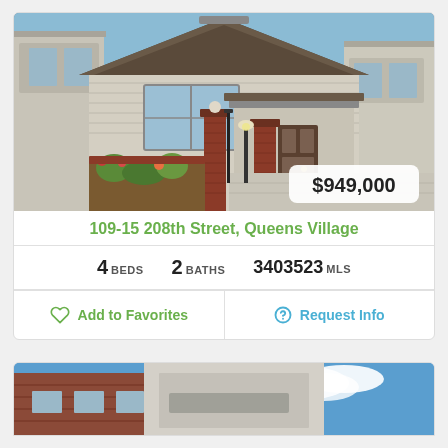[Figure (photo): Exterior photo of a residential house at 109-15 208th Street, Queens Village. Brick pillars at gate, steps leading to front porch, neighboring houses visible on both sides.]
109-15 208th Street, Queens Village
4 BEDS  2 BATHS  3403523 MLS
Add to Favorites
Request Info
[Figure (photo): Partial exterior photo of a second property listing showing a brick building against a blue sky with clouds.]